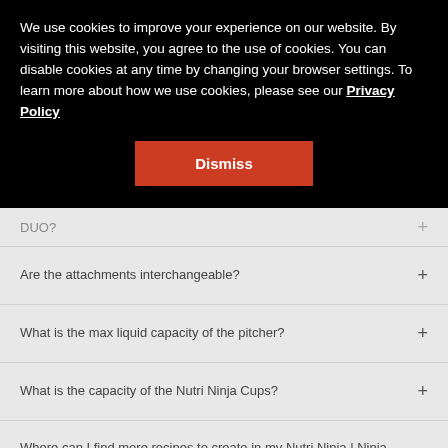We use cookies to improve your experience on our website. By visiting this website, you agree to the use of cookies. You can disable cookies at any time by changing your browser settings. To learn more about how we use cookies, please see our Privacy Policy
Dismiss
DUO?
Are the attachments interchangeable?
What is the max liquid capacity of the pitcher?
What is the capacity of the Nutri Ninja Cups?
Where can I find more recipes to create in my Nutri Ninja | Ninja Blender DUO?